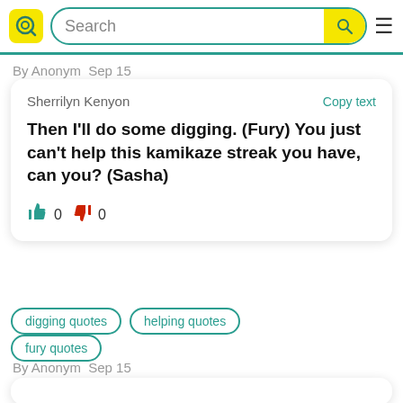[Figure (logo): Quora-style Q logo in yellow rounded square with teal search bar and hamburger menu]
By Anonym  Sep 15
Sherrilyn Kenyon
Copy text
Then I'll do some digging. (Fury) You just can't help this kamikaze streak you have, can you? (Sasha)
0  0
digging quotes
helping quotes
fury quotes
By Anonym  Sep 15